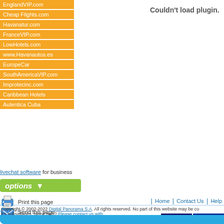EnglandVIP.com
Cheap Flights.com
Havanatur.com
FranceVIP.com
LowHotels.com
www.Havanautos.es
EuropeCar
SouthAmericaVIP.com
Improtecinc.com
Caribbean Hotels
Autentica Cuba
Couldn't load plugin.
livechat software for business
options
Print this page
Send this page
| Home | Contact Us | Help
Copyright © 2002-2022 Digital Panorama S.A. All rights reserved. No part of this website may be copied without permission from Digital Panorama S.A. or it's subsidiaries. Need help? Please contact us with your questions.